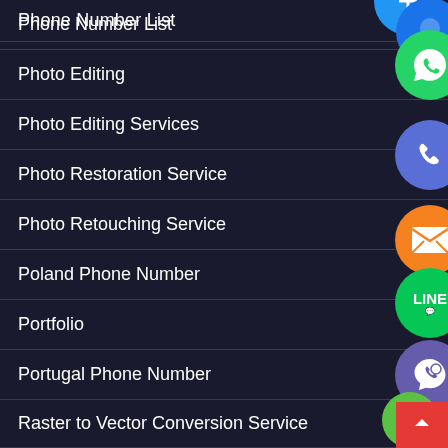Phone Number List
Photo Editing
Photo Editing Services
Photo Restoration Service
Photo Retouching Service
Poland Phone Number
Portfolio
Portugal Phone Number
Raster to Vector Conversion Service